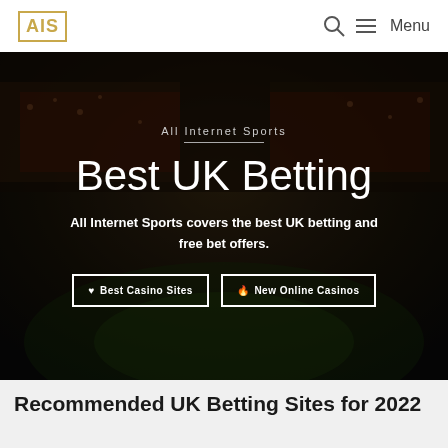AIS | ☰ Menu
[Figure (photo): Dark stadium/football crowd background image with overlay]
All Internet Sports
Best UK Betting
All Internet Sports covers the best UK betting and free bet offers.
♥ Best Casino Sites | 🔥 New Online Casinos
Recommended UK Betting Sites for 2022